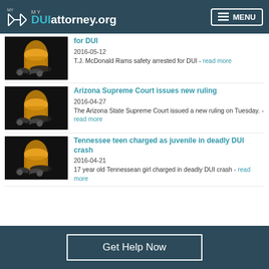MY DUIattorney.org — MENU
[Figure (photo): Photo of whiskey glass and car keys on dark background]
2016-05-12
T.J. McDonald Rams safety arrested for DUI - read more
[Figure (photo): Photo of whiskey glass and car keys on dark background]
Arizona Supreme Court issues new ruling
2016-04-27
The Arizona State Supreme Court issued a new ruling on Tuesday. - read more
[Figure (photo): Photo of whiskey glass and car keys on dark background]
Tennessee teen charged as juvenile in deadly DUI crash
2016-04-21
17 year old Tennessean girl charged in deadly DUI crash - read more
Get Help Now